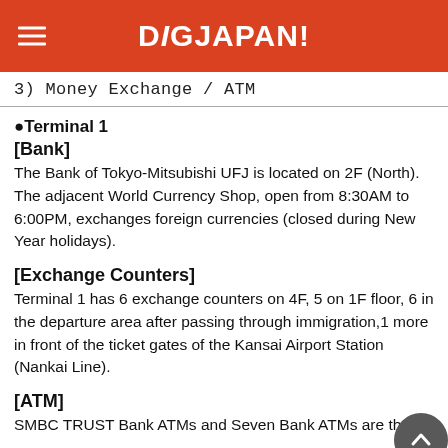DiGJAPAN!
3) Money Exchange / ATM
●Terminal 1
[Bank]
The Bank of Tokyo-Mitsubishi UFJ is located on 2F (North). The adjacent World Currency Shop, open from 8:30AM to 6:00PM, exchanges foreign currencies (closed during New Year holidays).
[Exchange Counters]
Terminal 1 has 6 exchange counters on 4F, 5 on 1F floor, 6 in the departure area after passing through immigration,1 more in front of the ticket gates of the Kansai Airport Station (Nankai Line).
[ATM]
SMBC TRUST Bank ATMs and Seven Bank ATMs are the